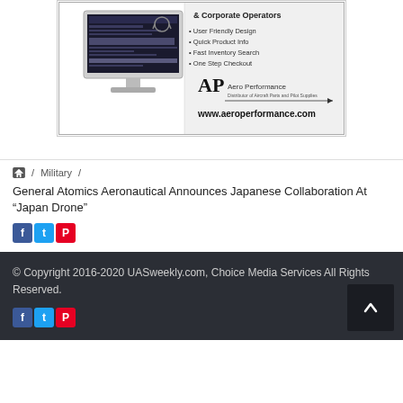[Figure (illustration): Advertisement for Aero Performance website showing a desktop computer with a headset, bullet points: User Friendly Design, Quick Product Info, Fast Inventory Search, One Step Checkout, AP logo, and www.aeroperformance.com URL]
/ Military / General Atomics Aeronautical Announces Japanese Collaboration At "Japan Drone"
[Figure (other): Social share icons: Facebook, Twitter, Pinterest]
© Copyright 2016-2020 UASweekly.com, Choice Media Services All Rights Reserved.
[Figure (other): Footer social share icons: Facebook, Twitter, Pinterest]